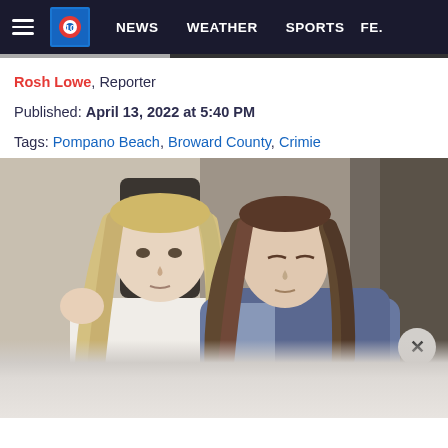10 NEWS WEATHER SPORTS FE...
Rosh Lowe, Reporter
Published: April 13, 2022 at 5:40 PM
Tags: Pompano Beach, Broward County, Crimie
[Figure (photo): Two women embracing emotionally; one has long blonde hair wearing a white jacket, the other has long brown hair leaning on the first woman's shoulder. They appear to be in an office setting.]